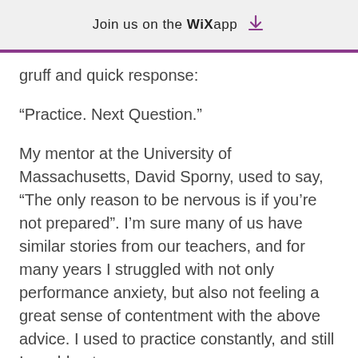Join us on the WiX app ⬇
gruff and quick response:
“Practice. Next Question.”
My mentor at the University of Massachusetts, David Sporny, used to say, “The only reason to be nervous is if you’re not prepared”. I’m sure many of us have similar stories from our teachers, and for many years I struggled with not only performance anxiety, but also not feeling a great sense of contentment with the above advice. I used to practice constantly, and still I would get